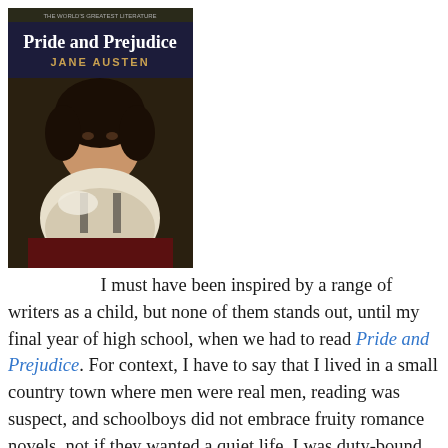[Figure (illustration): Book cover of Pride and Prejudice by Jane Austen, showing a portrait painting of a young woman in Regency-era dress with dark hair, wearing a white gown. The title 'Pride and Prejudice' appears in bold white text at the top, with 'JANE AUSTEN' in gold letters below it.]
I must have been inspired by a range of writers as a child, but none of them stands out, until my final year of high school, when we had to read Pride and Prejudice. For context, I have to say that I lived in a small country town where men were real men, reading was suspect, and schoolboys did not embrace fruity romance novels, not if they wanted a quiet life. I was duty-bound to hate the book, and maintained a good front in the schoolyard, but privately I was stunned that an old book could contain such sharp observation of